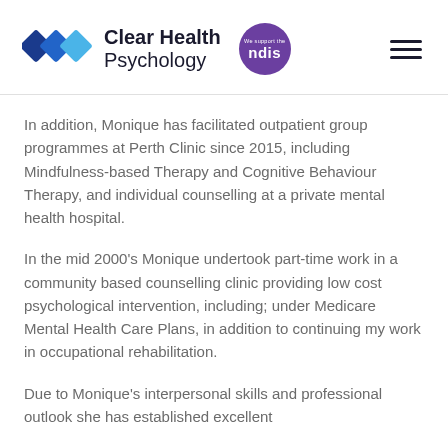[Figure (logo): Clear Health Psychology logo with diamond shapes in blue gradient, NDIS supporter badge in purple, and hamburger menu icon]
In addition, Monique has facilitated outpatient group programmes at Perth Clinic since 2015, including Mindfulness-based Therapy and Cognitive Behaviour Therapy, and individual counselling at a private mental health hospital.
In the mid 2000's Monique undertook part-time work in a community based counselling clinic providing low cost psychological intervention, including; under Medicare Mental Health Care Plans, in addition to continuing my work in occupational rehabilitation.
Due to Monique's interpersonal skills and professional outlook she has established excellent